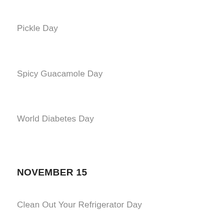Pickle Day
Spicy Guacamole Day
World Diabetes Day
NOVEMBER 15
Clean Out Your Refrigerator Day